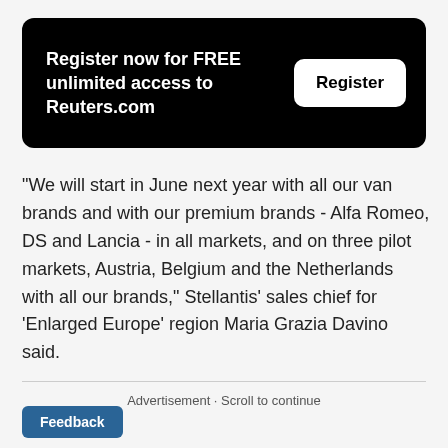[Figure (other): Black rounded rectangle advertisement banner with white text 'Register now for FREE unlimited access to Reuters.com' and a white 'Register' button on the right]
"We will start in June next year with all our van brands and with our premium brands - Alfa Romeo, DS and Lancia - in all markets, and on three pilot markets, Austria, Belgium and the Netherlands with all our brands," Stellantis' sales chief for 'Enlarged Europe' region Maria Grazia Davino said.
Advertisement · Scroll to continue
Feedback